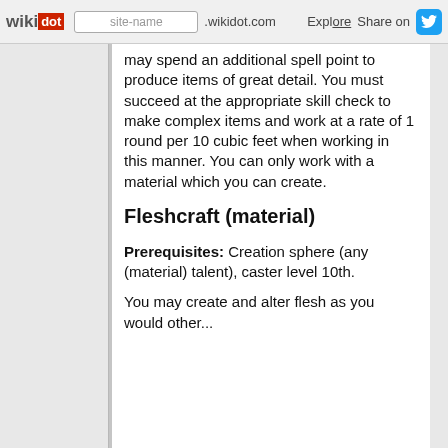wikidot | site-name .wikidot.com | Explore | Share on
may spend an additional spell point to produce items of great detail. You must succeed at the appropriate skill check to make complex items and work at a rate of 1 round per 10 cubic feet when working in this manner. You can only work with a material which you can create.
Fleshcraft (material)
Prerequisites: Creation sphere (any (material) talent), caster level 10th.
You may create and alter flesh as you would other...